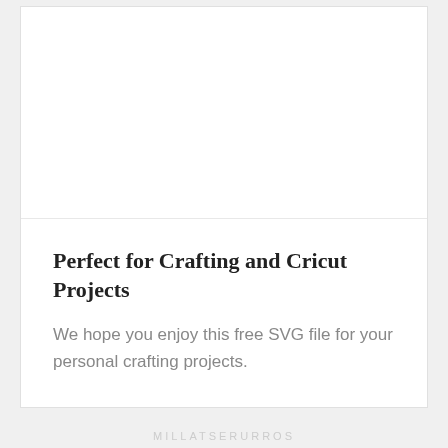Perfect for Crafting and Cricut Projects
We hope you enjoy this free SVG file for your personal crafting projects.